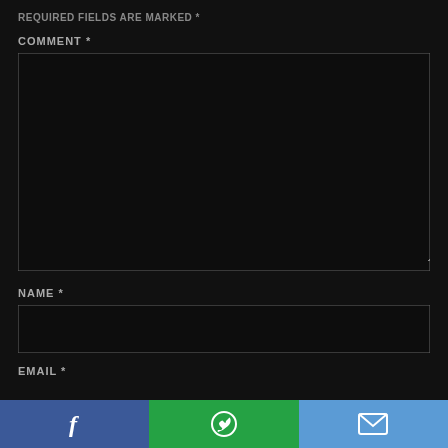REQUIRED FIELDS ARE MARKED *
COMMENT *
[Figure (screenshot): Large dark textarea input box for comments with resize handle in bottom-right corner]
NAME *
[Figure (screenshot): Single-line dark text input box for name]
EMAIL *
[Figure (screenshot): Bottom navigation bar with three buttons: Facebook (blue), WhatsApp (green), Email (light blue)]